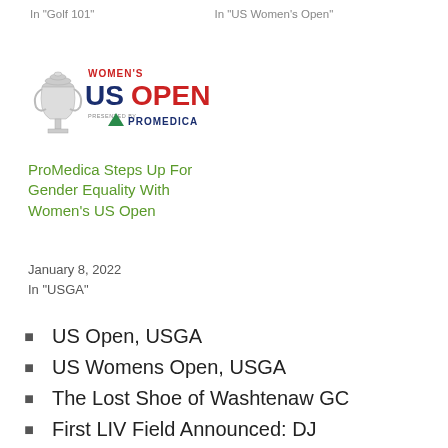In "Golf 101"
In "US Women's Open"
[Figure (logo): Women's US Open presented by ProMedica logo — trophy icon on left, red 'WOMEN'S' text, large dark blue 'USOPEN' text, green ProMedica triangle logo and 'PROMEDICA' text below]
ProMedica Steps Up For Gender Equality With Women's US Open
January 8, 2022
In "USGA"
US Open, USGA
US Womens Open, USGA
The Lost Shoe of Washtenaw GC
First LIV Field Announced: DJ